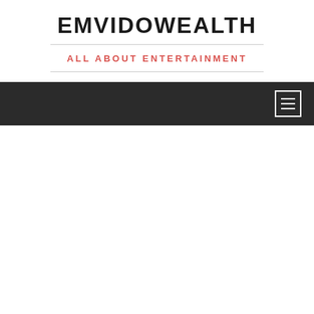EMVIDOWEALTH
ALL ABOUT ENTERTAINMENT
[Figure (other): Dark navigation bar with hamburger menu icon on the right side]